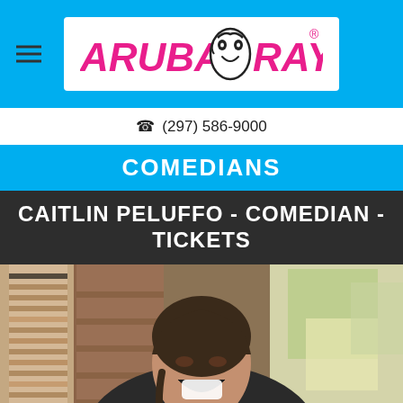[Figure (logo): Aruba Ray's logo with pink stylized text and face illustration on white background]
☎ (297) 586-9000
COMEDIANS
CAITLIN PELUFFO - COMEDIAN - TICKETS
[Figure (photo): Photo of Caitlin Peluffo laughing with mouth wide open, wearing a dark jacket, with brick wall and colorful painting in background]